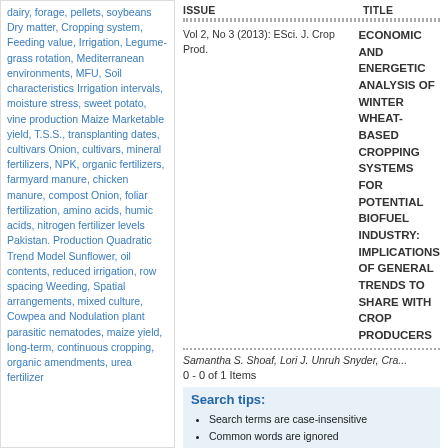dairy, forage, pellets, soybeans Dry matter, Cropping system, Feeding value, Irrigation, Legume-grass rotation, Mediterranean environments, MFU, Soil characteristics Irrigation intervals, moisture stress, sweet potato, vine production Maize Marketable yield, T.S.S., transplanting dates, cultivars Onion, cultivars, mineral fertilizers, NPK, organic fertilizers, farmyard manure, chicken manure, compost Onion, foliar fertilization, amino acids, humic acids, nitrogen fertilizer levels Pakistan. Production Quadratic Trend Model Sunflower, oil contents, reduced irrigation, row spacing Weeding, Spatial arrangements, mixed culture, Cowpea and Nodulation plant parasitic nematodes, maize yield, long-term, continuous cropping, organic amendments, urea fertilizer
| ISSUE | TITLE |
| --- | --- |
| Vol 2, No 3 (2013): ESci. J. Crop Prod. | ECONOMIC AND ENERGETIC ANALYSIS OF WINTER WHEAT-BASED CROPPING SYSTEMS FOR POTENTIAL BIOFUEL INDUSTRY: IMPLICATIONS OF GENERAL TRENDS TO SHARE WITH CROP PRODUCERS |
Samantha S. Shoaf, Lori J. Unruh Snyder, Cra...
0 - 0 of 1 Items
Search tips:
Search terms are case-insensitive
Common words are ignored
By default only articles containing all terms in the search field will be returned. To search for articles containing any of the search terms, use OR between terms (e.g., education OR research). AND is implied)